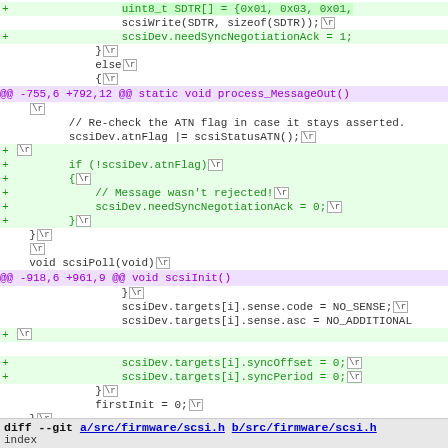[Figure (screenshot): A unified diff / code diff view showing changes to SCSI firmware files. Green lines are additions (+), magenta/purple lines are hunk headers (@@). The diff shows process_MessageOut() and scsiInit() function changes including needSyncNegotiationAck, syncOffset, and syncPeriod fields.]
diff --git a/src/firmware/scsi.h b/src/firmware/scsi.h
index
diff --git a/src/firmware/scsi.h b/src/firmware/scsi.h